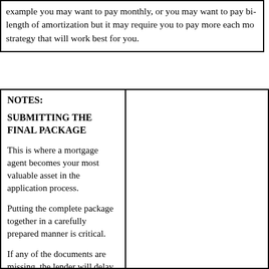example you may want to pay monthly, or you may want to pay bi- length of amortization but it may require you to pay more each mo strategy that will work best for you.
NOTES:
SUBMITTING THE FINAL PACKAGE
This is where a mortgage agent becomes your most valuable asset in the application process.
Putting the complete package together in a carefully prepared manner is critical.
If any of the documents are missing, the lender will delay making a decision until you get the material in.